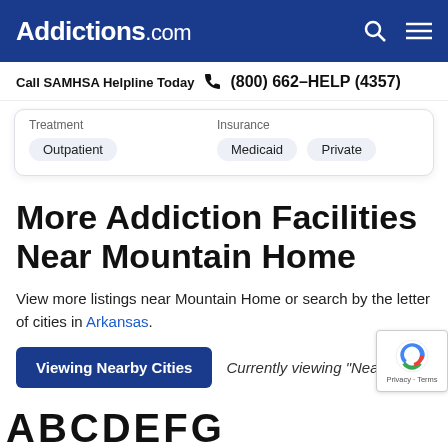Addictions.com
Call SAMHSA Helpline Today (800) 662-HELP (4357)
Treatment: Outpatient | Insurance: Medicaid, Private
More Addiction Facilities Near Mountain Home
View more listings near Mountain Home or search by the letter of cities in Arkansas.
Viewing Nearby Cities  Currently viewing "Nearby..."